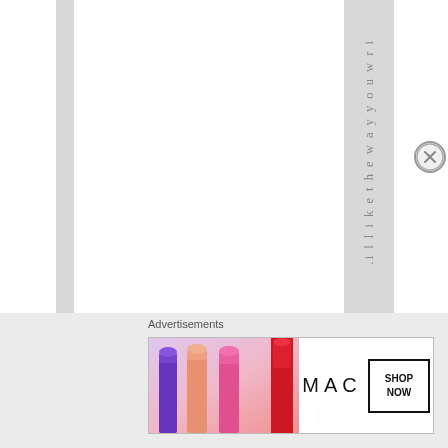[Figure (illustration): Web page screenshot with vertical white and gray stripes. A gray column contains vertically oriented text reading '.i l l i k e t h e w a y y o u w r i' (partial phrase 'i like the way you wri...'). An X close button appears on the right side.]
Advertisements
[Figure (photo): MAC Cosmetics advertisement banner showing colorful lipsticks on the left (purple, peach, pink), the MAC logo in the center, a SHOP NOW button in a black-bordered rectangle, and a red lipstick on the right.]